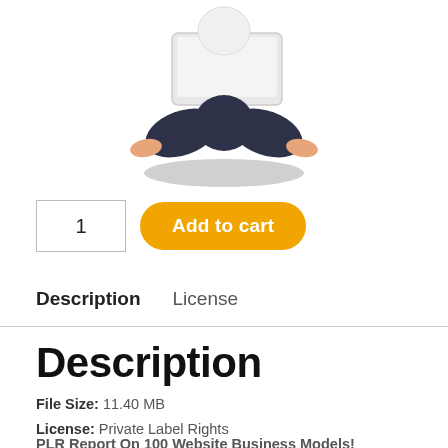[Figure (illustration): Flat illustration of a person sitting cross-legged on the floor using a laptop, viewed from slightly above. The figure has dark pants and a white/grey laptop. There is a grey elliptical shadow beneath the person.]
1
Add to cart
Description   License
Description
File Size: 11.40 MB
License: Private Label Rights
Author: Administrator
PLR Report On 100 Website Business Models!